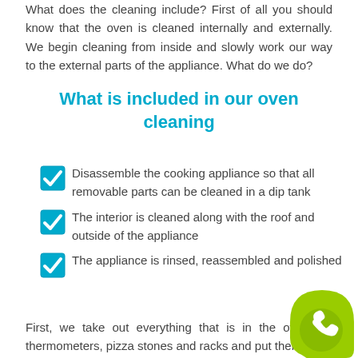What does the cleaning include? First of all you should know that the oven is cleaned internally and externally. We begin cleaning from inside and slowly work our way to the external parts of the appliance. What do we do?
What is included in our oven cleaning
Disassemble the cooking appliance so that all removable parts can be cleaned in a dip tank
The interior is cleaned along with the roof and outside of the appliance
The appliance is rinsed, reassembled and polished
First, we take out everything that is in the oven s... thermometers, pizza stones and racks and put them...